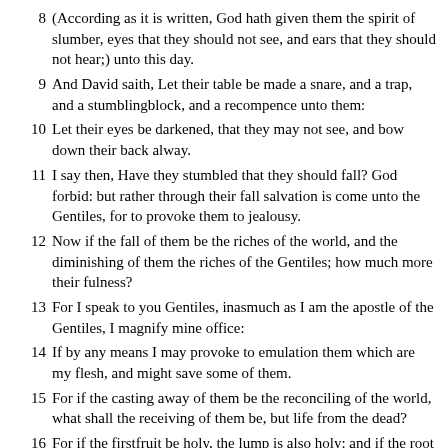8 (According as it is written, God hath given them the spirit of slumber, eyes that they should not see, and ears that they should not hear;) unto this day.
9 And David saith, Let their table be made a snare, and a trap, and a stumblingblock, and a recompence unto them:
10 Let their eyes be darkened, that they may not see, and bow down their back alway.
11 I say then, Have they stumbled that they should fall? God forbid: but rather through their fall salvation is come unto the Gentiles, for to provoke them to jealousy.
12 Now if the fall of them be the riches of the world, and the diminishing of them the riches of the Gentiles; how much more their fulness?
13 For I speak to you Gentiles, inasmuch as I am the apostle of the Gentiles, I magnify mine office:
14 If by any means I may provoke to emulation them which are my flesh, and might save some of them.
15 For if the casting away of them be the reconciling of the world, what shall the receiving of them be, but life from the dead?
16 For if the firstfruit be holy, the lump is also holy: and if the root be holy, so are the branches.
17 And if some of the branches be broken off, and thou, being a wild olive tree, wert graffed in among them, and with them